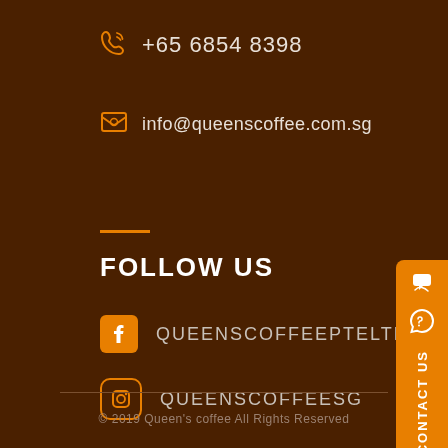+65 6854 8398
info@queenscoffee.com.sg
FOLLOW US
QUEENSCOFFEEPTELTD
QUEENSCOFFEESG
CONTACT US
© 2019 Queen's coffee All Rights Reserved